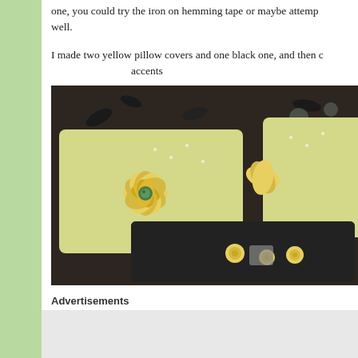one, you could try the iron on hemming tape or maybe attempt well.
I made two yellow pillow covers and one black one, and then c accents
[Figure (photo): Photo of yellow and black decorative pillow covers on a dark floral background. The yellow pillows have felt flower decorations with petal shapes and a button center. A black pillow is in the foreground with small yellow rosette accents.]
Advertisements